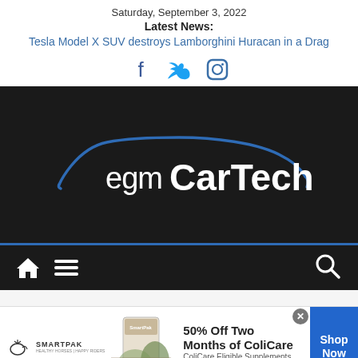Saturday, September 3, 2022
Latest News:
Tesla Model X SUV destroys Lamborghini Huracan in a Drag
[Figure (other): Social media icons: Facebook, Twitter, Instagram]
[Figure (logo): egmCarTech logo on dark background with blue car silhouette outline]
[Figure (other): Navigation bar with home icon, hamburger menu icon on left and search icon on right, dark background]
[Figure (other): SmartPak advertisement: 50% Off Two Months of ColiCare, ColiCare Eligible Supplements, CODE: COLICARE10, Shop Now button]